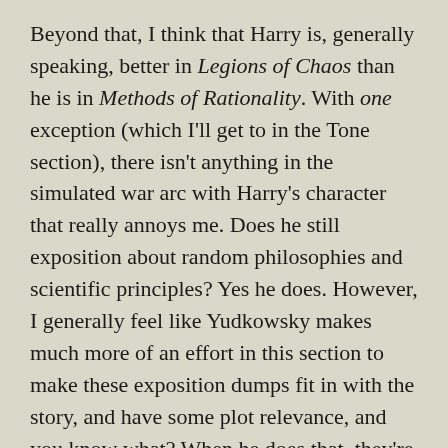Beyond that, I think that Harry is, generally speaking, better in Legions of Chaos than he is in Methods of Rationality. With one exception (which I'll get to in the Tone section), there isn't anything in the simulated war arc with Harry's character that really annoys me. Does he still exposition about random philosophies and scientific principles? Yes he does. However, I generally feel like Yudkowsky makes much more of an effort in this section to make these exposition dumps fit in with the story, and have some plot relevance, and you know what? When he does that, they're honestly bearable. And just to be clear, I am not discussing whether Yudkowsky gets these philosophies correct or not, nor am I weighing either their actual moral worth or whether his real life opinions on their moral worth are accurate. I am looking at them solely from a storytelling perspective, and they work within the